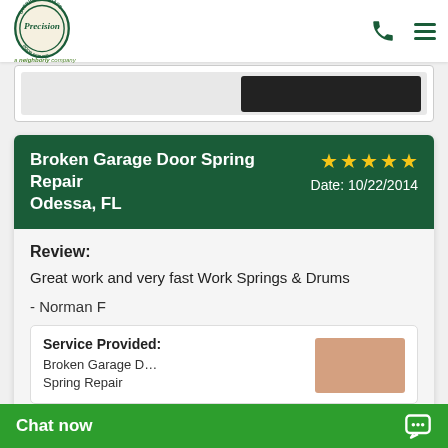[Figure (logo): Precision Door Service logo - oval shaped with green border, 'Overhead Garage' text at top, 'Precision' in large text, 'Door Service' at bottom, 'a neighborly company' tagline below]
Broken Garage Door Spring Repair
Odessa, FL
★★★★★
Date: 10/22/2014
Review:
Great work and very fast Work Springs & Drums
- Norman F
Service Provided:
Broken Garage D…
Spring Repair